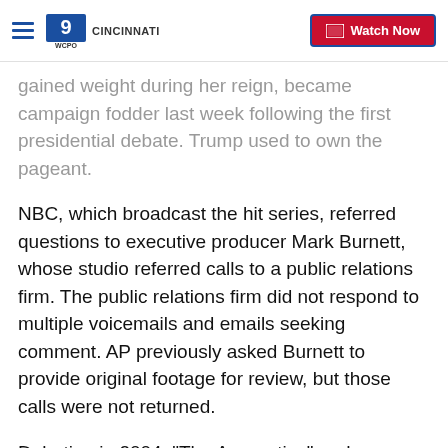WCPO 9 CINCINNATI | Watch Now
gained weight during her reign, became campaign fodder last week following the first presidential debate. Trump used to own the pageant.
NBC, which broadcast the hit series, referred questions to executive producer Mark Burnett, whose studio referred calls to a public relations firm. The public relations firm did not respond to multiple voicemails and emails seeking comment. AP previously asked Burnett to provide original footage for review, but those calls were not returned.
Debuting in 2004, "The Apprentice" and a spinoff, "Celebrity Apprentice," propelled Trump to national stardom following a string of bankruptcies and bad